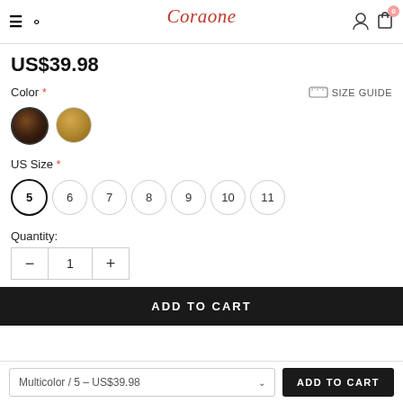Coraone
US$39.98
Color *
[Figure (other): Two circular color swatches for product color selection: dark multicolor swatch and lighter multicolor swatch]
US Size *
Size options: 5 (selected), 6, 7, 8, 9, 10, 11
Quantity:
Quantity control showing minus button, value 1, plus button
ADD TO CART
Multicolor / 5 - US$39.98
ADD TO CART